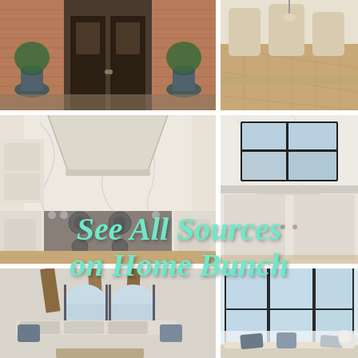[Figure (photo): Brick house exterior with dark double doors flanked by large urn planters with greenery]
[Figure (photo): Dining room with upholstered chairs and hardwood floors, pendant light]
[Figure (photo): White kitchen with large marble range hood over professional range, marble backsplash]
[Figure (photo): White kitchen with black-framed windows, marble backsplash, farmhouse sink]
[Figure (photo): Living room with vaulted ceiling, exposed wood beams, large arched windows, neutral sofas]
[Figure (photo): Window seat area with large floor-to-ceiling windows overlooking snowy landscape, decorative pillows]
See All Sources on Home Bunch